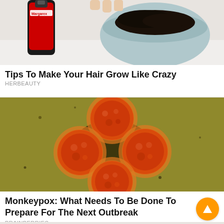[Figure (photo): Partial photo showing a Coca-Cola bottle and a bowl with dark hair, used as thumbnail for hair growth tips article]
Tips To Make Your Hair Grow Like Crazy
HERBEAUTY
[Figure (photo): Microscopic image of monkeypox virus particles — orange-red spherical virions on a golden-green background]
Monkeypox: What Needs To Be Done To Prepare For The Next Outbreak
BRAINBERRIES